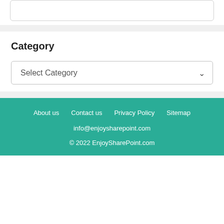Category
Select Category
About us   Contact us   Privacy Policy   Sitemap
info@enjoysharepoint.com
© 2022 EnjoySharePoint.com